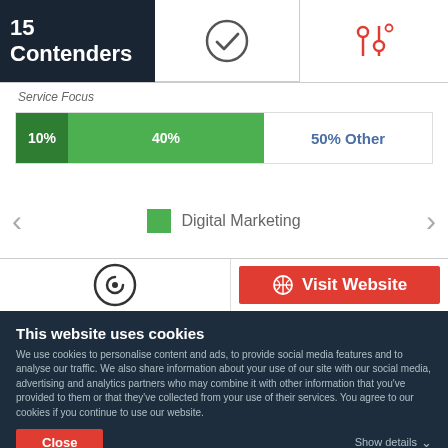15 Contenders
[Figure (other): Checkmark icon in circle]
[Figure (other): Filter/settings icon in red, with red underline indicating active tab]
Service Focus
[Figure (stacked-bar-chart): Service Focus]
[Figure (other): Legend: green square with label Digital Marketing, with left and right navigation arrows]
[Figure (logo): Clutch logo / circular C icon]
[Figure (other): Globe icon with Visit Website button in red]
This website uses cookies
We use cookies to personalise content and ads, to provide social media features and to analyse our traffic. We also share information about your use of our site with our social media, advertising and analytics partners who may combine it with other information that you've provided to them or that they've collected from your use of their services. You agree to our cookies if you continue to use our website.
Close
Show details